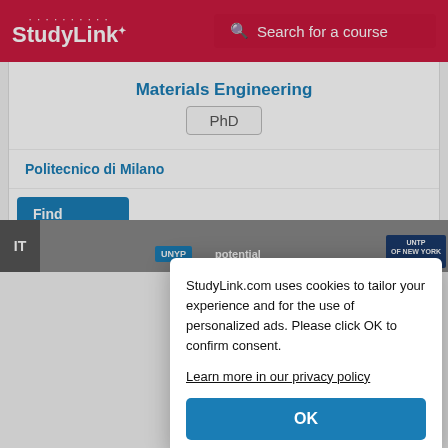StudyLink | Search for a course
Materials Engineering
PhD
Politecnico di Milano
Find
StudyLink.com uses cookies to tailor your experience and for the use of personalized ads. Please click OK to confirm consent. Learn more in our privacy policy
OK